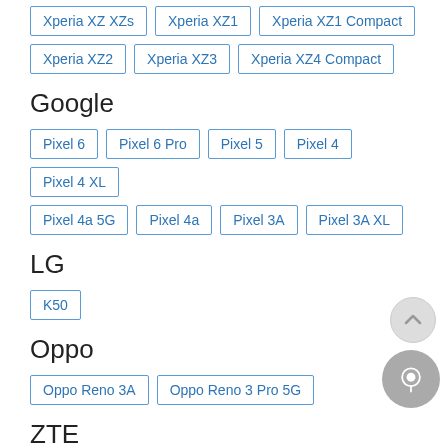Xperia XZ XZs
Xperia XZ1
Xperia XZ1 Compact
Xperia XZ2
Xperia XZ3
Xperia XZ4 Compact
Google
Pixel 6
Pixel 6 Pro
Pixel 5
Pixel 4
Pixel 4 XL
Pixel 4a 5G
Pixel 4a
Pixel 3A
Pixel 3A XL
LG
K50
Oppo
Oppo Reno 3A
Oppo Reno 3 Pro 5G
ZTE
ZTE Libero S10 JP 901ZT
ZTE A1 ZTG01